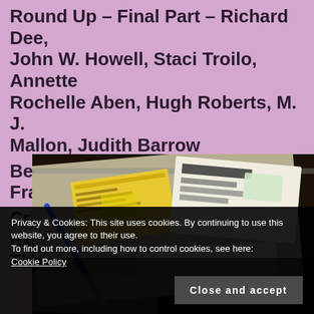Round Up – Final Part – Richard Dee, John W. Howell, Staci Troilo, Annette Rochelle Aben, Hugh Roberts, M. J. Mallon, Judith Barrow
Beckenham book event – authors Frankie, Julie and Jo
Cripes! Seriously? I Never Expected That...
[Figure (photo): A photo of an open notebook or diary with a blue pen, yellow cards or postcards, and various papers/stamps scattered on it, shot from above at an angle. The image is partially obscured by a dark cookie consent overlay.]
Privacy & Cookies: This site uses cookies. By continuing to use this website, you agree to their use.
To find out more, including how to control cookies, see here: Cookie Policy
Close and accept